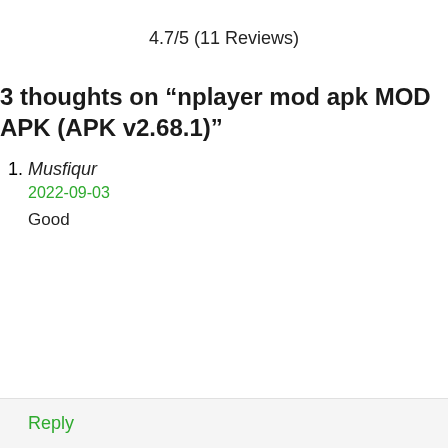4.7/5 (11 Reviews)
3 thoughts on “nplayer mod apk MOD APK (APK v2.68.1)”
Musfiqur
2022-09-03
Good
Reply